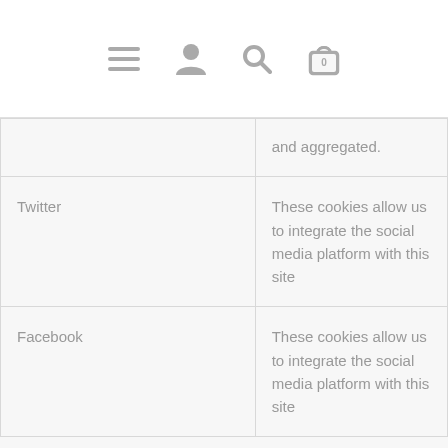[Figure (other): Navigation bar with hamburger menu icon, user/profile icon, search icon, and shopping bag icon with badge showing 0]
|  | and aggregated. |
| Twitter | These cookies allow us to integrate the social media platform with this site |
| Facebook | These cookies allow us to integrate the social media platform with this site |